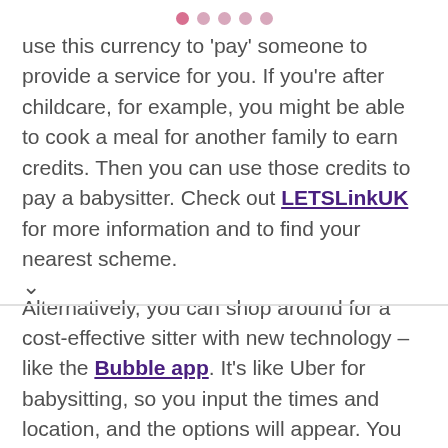● ● ● ● ●
use this currency to 'pay' someone to provide a service for you. If you're after childcare, for example, you might be able to cook a meal for another family to earn credits. Then you can use those credits to pay a babysitter. Check out LETSLinkUK for more information and to find your nearest scheme.
Alternatively, you can shop around for a cost-effective sitter with new technology – like the Bubble app. It's like Uber for babysitting, so you input the times and location, and the options will appear. You pick a sitter you like the look of and pay through the app.